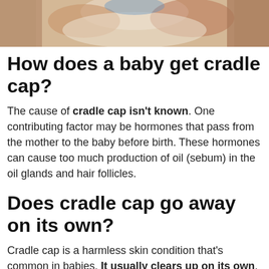[Figure (photo): Close-up photo of a baby's face and skin, partially visible at the top of the page]
How does a baby get cradle cap?
The cause of cradle cap isn't known. One contributing factor may be hormones that pass from the mother to the baby before birth. These hormones can cause too much production of oil (sebum) in the oil glands and hair follicles.
Does cradle cap go away on its own?
Cradle cap is a harmless skin condition that's common in babies. It usually clears up on its own, but there are things you can try to